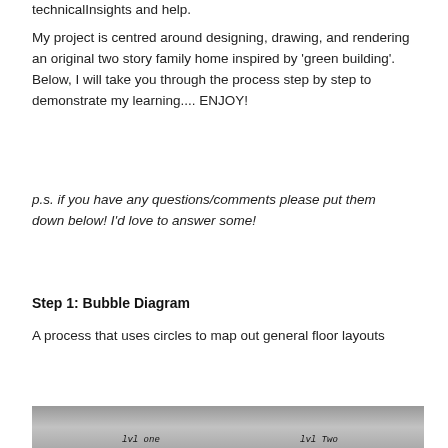My project is centred around designing, drawing, and rendering an original two story family home inspired by 'green building'. Below, I will take you through the process step by step to demonstrate my learning.... ENJOY!
p.s. if you have any questions/comments please put them down below! I'd love to answer some!
Step 1: Bubble Diagram
A process that uses circles to map out general floor layouts
[Figure (photo): Bottom portion of a handwritten bubble diagram on grey/silver background, with handwritten labels including 'lvl one' on the left and 'lvl Two' on the right.]